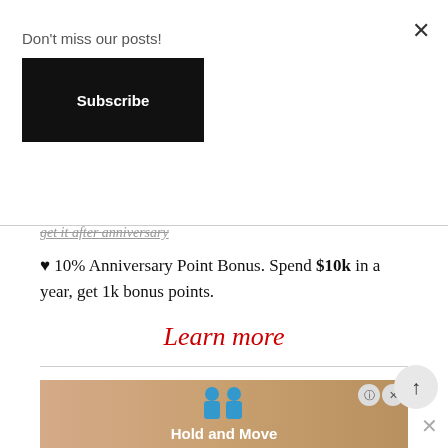Don't miss our posts!
Subscribe
get it after anniversary
♥ 10% Anniversary Point Bonus. Spend $10k in a year, get 1k bonus points.
Learn more
[Figure (screenshot): Advertisement banner for 'Hold and Move' app with two blue figure icons and striped background, with close and info buttons]
Hold and Move